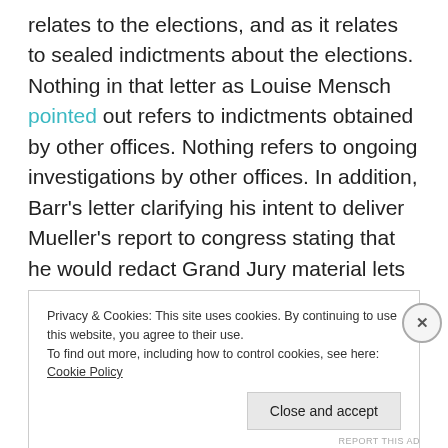relates to the elections, and as it relates to sealed indictments about the elections. Nothing in that letter as Louise Mensch pointed out refers to indictments obtained by other offices. Nothing refers to ongoing investigations by other offices. In addition, Barr's letter clarifying his intent to deliver Mueller's report to congress stating that he would redact Grand Jury material lets us know that elections related evidence does play a part in ongoing investigations.
Privacy & Cookies: This site uses cookies. By continuing to use this website, you agree to their use. To find out more, including how to control cookies, see here: Cookie Policy